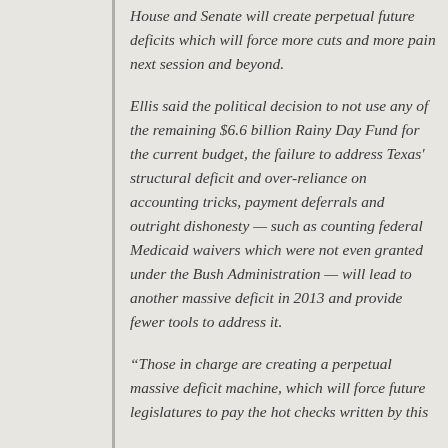House and Senate will create perpetual future deficits which will force more cuts and more pain next session and beyond.
Ellis said the political decision to not use any of the remaining $6.6 billion Rainy Day Fund for the current budget, the failure to address Texas' structural deficit and over-reliance on accounting tricks, payment deferrals and outright dishonesty — such as counting federal Medicaid waivers which were not even granted under the Bush Administration — will lead to another massive deficit in 2013 and provide fewer tools to address it.
“Those in charge are creating a perpetual massive deficit machine, which will force future legislatures to pay the hot checks written by this